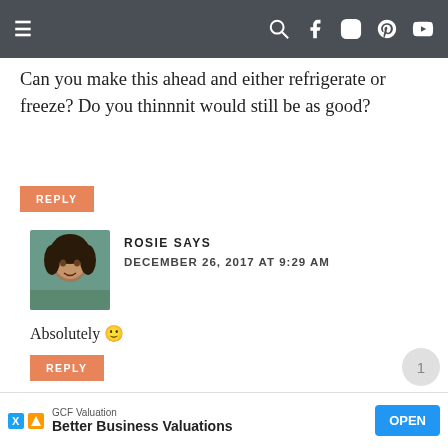≡ [search] [facebook] [instagram] [pinterest] [youtube]
Can you make this ahead and either refrigerate or freeze? Do you thinnnit would still be as good?
REPLY
ROSIE SAYS
DECEMBER 26, 2017 AT 9:29 AM
Absolutely 🙂
REPLY
[Figure (photo): Profile photo of Rosie, a woman with curly hair outdoors]
GCF Valuation
Better Business Valuations
OPEN